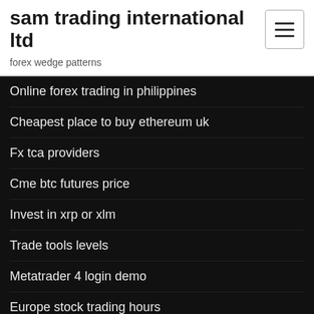sam trading international ltd
forex wedge patterns
Online forex trading in philippines
Cheapest place to buy ethereum uk
Fx tca providers
Cme btc futures price
Invest in xrp or xlm
Trade tools levels
Metatrader 4 login demo
Europe stock trading hours
Kevin landis stocks
Xvg price btc